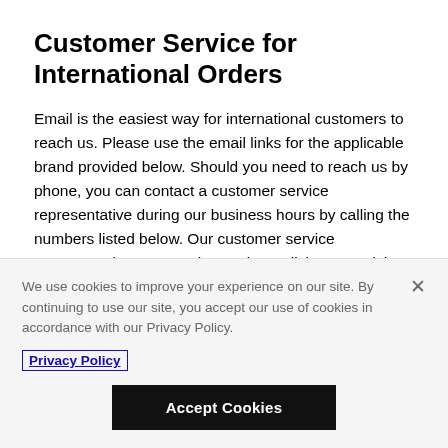Customer Service for International Orders
Email is the easiest way for international customers to reach us. Please use the email links for the applicable brand provided below. Should you need to reach us by phone, you can contact a customer service representative during our business hours by calling the numbers listed below. Our customer service representatives can assist you in English or Spanish, no other languages are supported at this time. Please check and use the country code applicable to your location or device prior to calling.
We use cookies to improve your experience on our site. By continuing to use our site, you accept our use of cookies in accordance with our Privacy Policy.
Privacy Policy
Accept Cookies